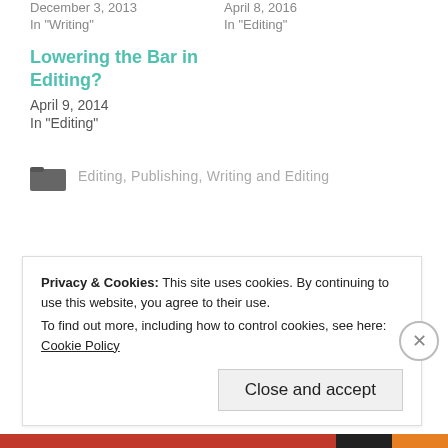In "Writing"
In "Editing"
Lowering the Bar in Editing?
April 9, 2014
In "Editing"
Editing, Publishing, Writing and Editing
Privacy & Cookies: This site uses cookies. By continuing to use this website, you agree to their use.
To find out more, including how to control cookies, see here: Cookie Policy
Close and accept